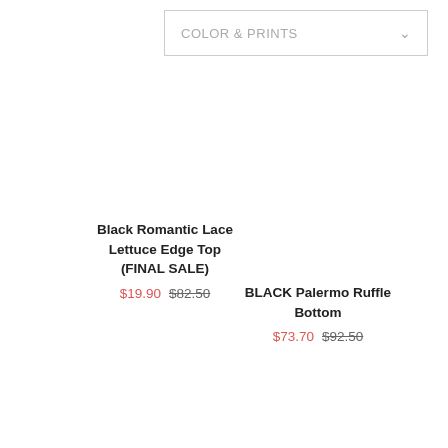COLOR & PRINTS
Black Romantic Lace Lettuce Edge Top (FINAL SALE)
$19.90  $82.50
BLACK Palermo Ruffle Bottom
$73.70  $92.50